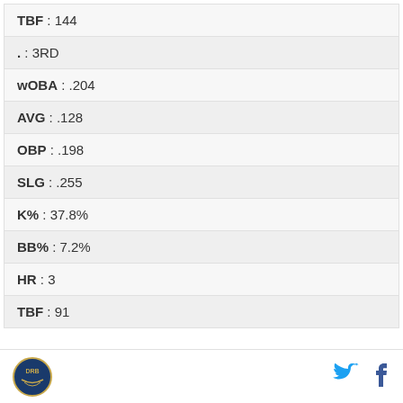| TBF | 144 |
| . | 3RD |
| wOBA | .204 |
| AVG | .128 |
| OBP | .198 |
| SLG | .255 |
| K% | 37.8% |
| BB% | 7.2% |
| HR | 3 |
| TBF | 91 |
[Figure (logo): DRB circular logo in bottom left footer]
[Figure (logo): Twitter bird icon in blue]
[Figure (logo): Facebook f icon in blue]